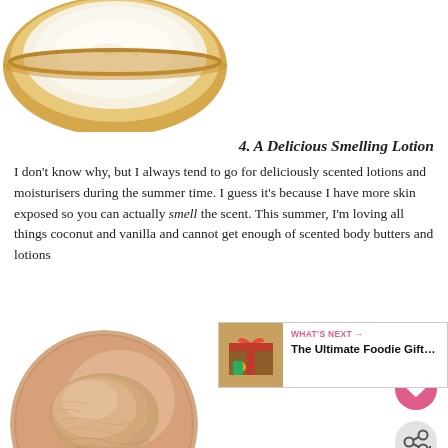[Figure (photo): Top-down photo of an open cream/lotion jar with white/cream product inside, gold rim, partially cropped at top]
4. A Delicious Smelling Lotion
I don't know why, but I always tend to go for deliciously scented lotions and moisturisers during the summer time. I guess it's because I have more skin exposed so you can actually smell the scent. This summer, I'm loving all things coconut and vanilla and cannot get enough of scented body butters and lotions
[Figure (photo): Close-up circular photo of skin with a smear of tinted product/moisturiser swatched on it]
5. Tinted Moisturis…
I prefer not to wear make up in summer, unless I'm… at Church on a Sunday, so I love tinted moisturiser. I always like to have one that also has SPF coverage as it's so needed with the hot…